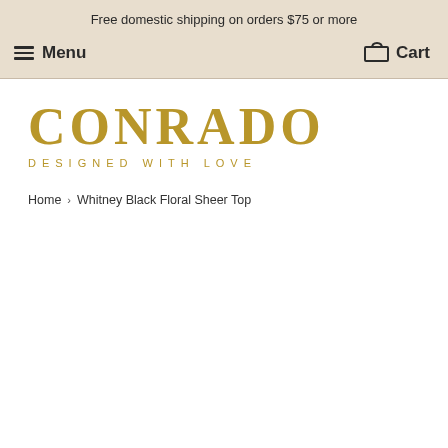Free domestic shipping on orders $75 or more
Menu  Cart
[Figure (logo): Conrado logo — large serif bold text 'CONRADO' in gold/tan color, with tagline 'DESIGNED WITH LOVE' in smaller spaced capitals below]
Home › Whitney Black Floral Sheer Top